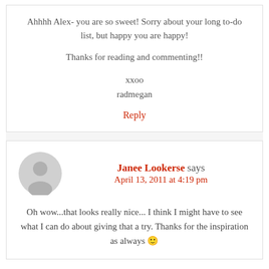Ahhhh Alex- you are so sweet! Sorry about your long to-do list, but happy you are happy!
Thanks for reading and commenting!!
xxoo
radmegan
Reply
Janee Lookerse says
April 13, 2011 at 4:19 pm
Oh wow...that looks really nice... I think I might have to see what I can do about giving that a try. Thanks for the inspiration as always 🙂